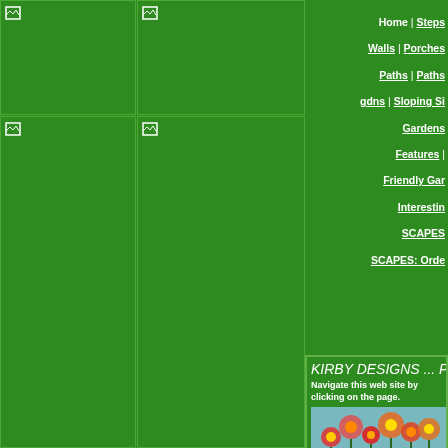[Figure (photo): Top left placeholder image on green background]
[Figure (photo): Top center placeholder image on green background]
[Figure (photo): Left column lower placeholder image on green background]
[Figure (photo): Center column lower placeholder image on green background]
Home | Steps | Walls | Porches | Paths | Paths gdns | Sloping S... | Gardens | Features | Friendly Gar... | Interestin... | SCAPES... | SCAPES: Orde...
KIRBY DESIGNS ... Portfolio
Navigate this web site by clicking on the page.
[Figure (photo): Flower banner with colorful red and orange flowers]
[Figure (logo): Kirby Designs logo with stylized text and flower graphic]